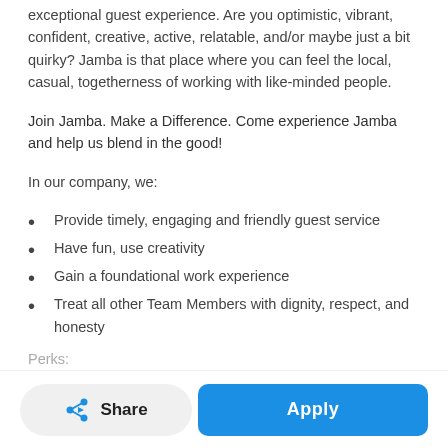exceptional guest experience. Are you optimistic, vibrant, confident, creative, active, relatable, and/or maybe just a bit quirky? Jamba is that place where you can feel the local, casual, togetherness of working with like-minded people.
Join Jamba. Make a Difference. Come experience Jamba and help us blend in the good!
In our company, we:
Provide timely, engaging and friendly guest service
Have fun, use creativity
Gain a foundational work experience
Treat all other Team Members with dignity, respect, and honesty
Perks: